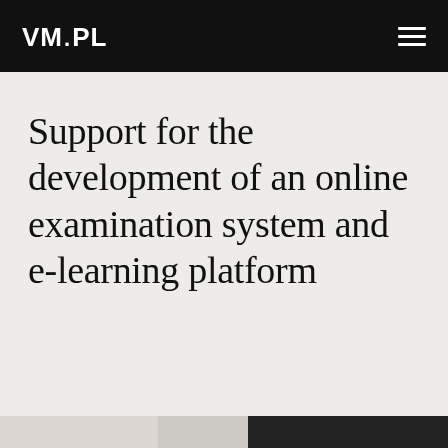VMPL
Support for the development of an online examination system and e-learning platform
[Figure (photo): Bottom strip showing partial photo of a laptop/computer screen in dark tones]